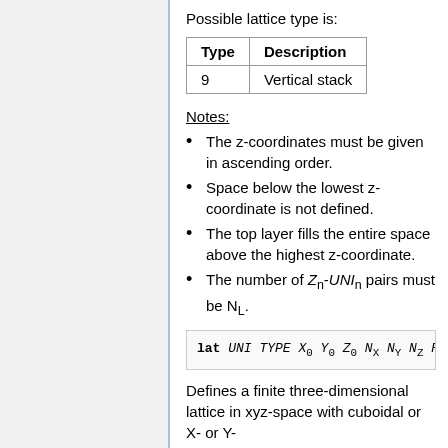Possible lattice type is:
| Type | Description |
| --- | --- |
| 9 | Vertical stack |
Notes:
The z-coordinates must be given in ascending order.
Space below the lowest z-coordinate is not defined.
The top layer fills the entire space above the highest z-coordinate.
The number of Z_n-UNI_n pairs must be N_L.
Defines a finite three-dimensional lattice in xyz-space with cuboidal or X- or Y-